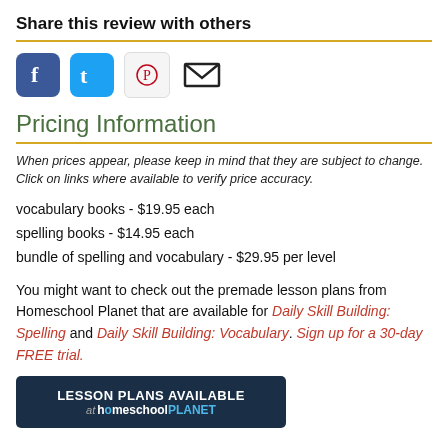Share this review with others
[Figure (other): Social sharing icons: Facebook, Twitter, Pinterest, Email]
Pricing Information
When prices appear, please keep in mind that they are subject to change. Click on links where available to verify price accuracy.
vocabulary books - $19.95 each
spelling books - $14.95 each
bundle of spelling and vocabulary - $29.95 per level
You might want to check out the premade lesson plans from Homeschool Planet that are available for Daily Skill Building: Spelling and Daily Skill Building: Vocabulary. Sign up for a 30-day FREE trial.
[Figure (other): Banner: LESSON PLANS AVAILABLE at homeschoolPLANET]